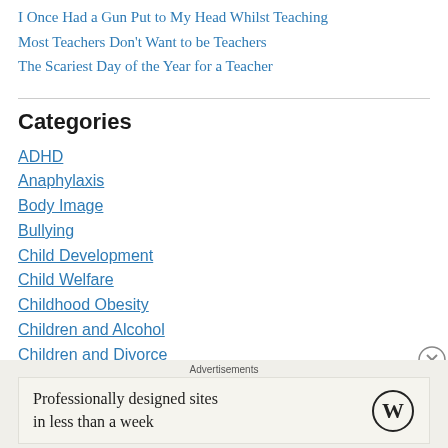I Once Had a Gun Put to My Head Whilst Teaching
Most Teachers Don't Want to be Teachers
The Scariest Day of the Year for a Teacher
Categories
ADHD
Anaphylaxis
Body Image
Bullying
Child Development
Child Welfare
Childhood Obesity
Children and Alcohol
Children and Divorce
Children and Medication
Advertisements
Professionally designed sites in less than a week